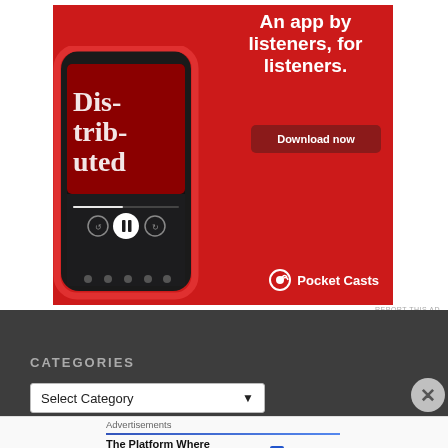[Figure (photo): Pocket Casts app advertisement on red background. Shows a smartphone displaying a podcast called 'Distributed'. Text reads 'An app by listeners, for listeners.' with a 'Download now' button and Pocket Casts logo.]
REPORT THIS AD
CATEGORIES
Select Category
[Figure (screenshot): Bottom advertisement banner showing 'Advertisements' label, blue underline, text 'The Platform Where WordPress Works Best' with Pressable logo.]
REPORT THIS AD